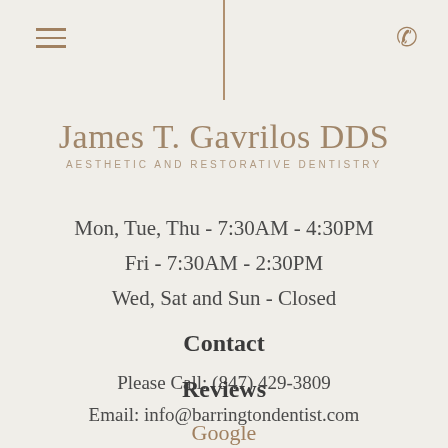≡ [hamburger menu] | [vertical divider] | [phone icon]
James T. Gavrilos DDS
AESTHETIC AND RESTORATIVE DENTISTRY
Mon, Tue, Thu - 7:30AM - 4:30PM
Fri - 7:30AM - 2:30PM
Wed, Sat and Sun - Closed
Contact
Please Call: (847) 429-3809
Email: info@barringtondentist.com
Reviews
Google